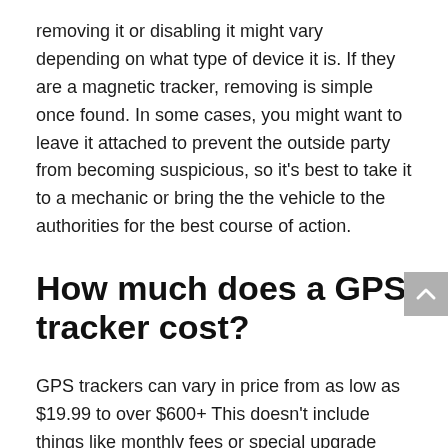removing it or disabling it might vary depending on what type of device it is. If they are a magnetic tracker, removing is simple once found. In some cases, you might want to leave it attached to prevent the outside party from becoming suspicious, so it's best to take it to a mechanic or bring the the vehicle to the authorities for the best course of action.
How much does a GPS tracker cost?
GPS trackers can vary in price from as low as $19.99 to over $600+ This doesn't include things like monthly fees or special upgrade features. In general, the more sophisticated the GPS tracker is